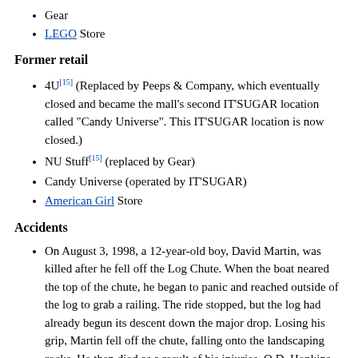Gear
LEGO Store
Former retail
4U[15] (Replaced by Peeps & Company, which eventually closed and became the mall's second IT'SUGAR location called "Candy Universe". This IT'SUGAR location is now closed.)
NU Stuff[15] (replaced by Gear)
Candy Universe (operated by IT'SUGAR)
American Girl Store
Accidents
On August 3, 1998, a 12-year-old boy, David Martin, was killed after he fell off the Log Chute. When the boat neared the top of the chute, he began to panic and reached outside of the log to grab a railing. The ride stopped, but the log had already begun its descent down the major drop. Losing his grip, Martin fell off the chute, falling onto the landscaping rocks. He then died as a result of his injuries. O.D. Hopkins Associates, Inc., the manufacturer of the ride, inspected it and found it was in proper working order. It was Camp